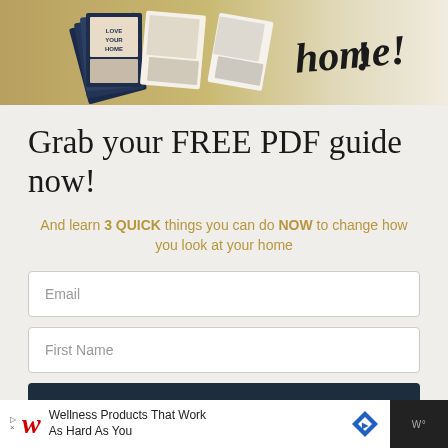[Figure (photo): Banner image showing home decor PDF guides/booklets fanned out on a table with cursive handwritten-style text 'home!!' on the right side]
Grab your FREE PDF guide now!
And learn 3 QUICK things you can do NOW to change how you look at your home
Email
First Name
Send me the guide now!
[Figure (screenshot): Walgreens advertisement banner: Wellness Products That Work As Hard As You]